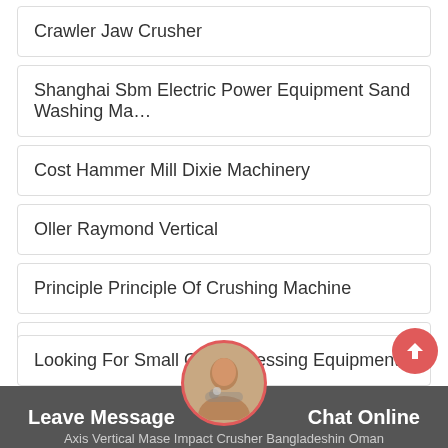Crawler Jaw Crusher
Shanghai Sbm Electric Power Equipment Sand Washing Ma…
Cost Hammer Mill Dixie Machinery
Oller Raymond Vertical
Principle Principle Of Crushing Machine
Ball Mill Tembaga Crusher
Looking For Small Ore Processing Equipment
Leave Message   Chat Online
Axis Vertical Mase Impact Crusher Bangladeshin Oman